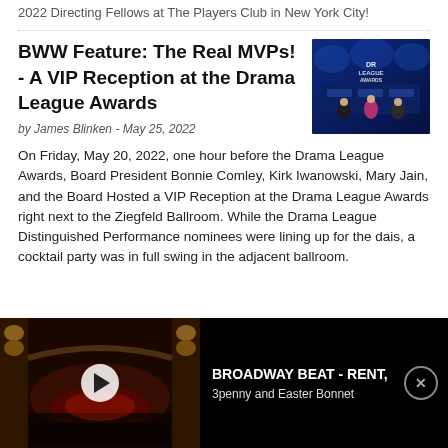2022 Directing Fellows at The Players Club in New York City!
BWW Feature: The Real MVPs! - A VIP Reception at the Drama League Awards
by James Blinken - May 25, 2022
[Figure (photo): Three people standing in front of a Drama League Awards stage backdrop with blue lighting]
On Friday, May 20, 2022, one hour before the Drama League Awards, Board President Bonnie Comley, Kirk Iwanowski, Mary Jain, and the Board Hosted a VIP Reception at the Drama League Awards right next to the Ziegfeld Ballroom. While the Drama League Distinguished Performance nominees were lining up for the dais, a cocktail party was in full swing in the adjacent ballroom.
[Figure (screenshot): Video player showing Broadway Beat - RENT, 3penny and Easter Bonnet with a theater stage thumbnail]